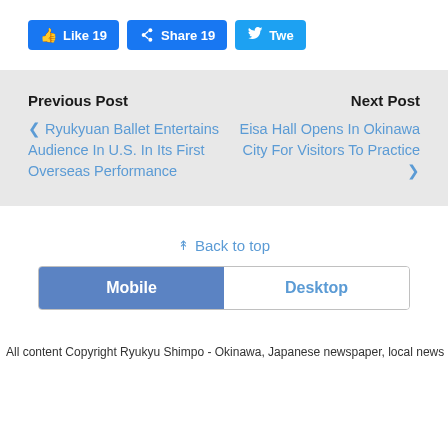[Figure (screenshot): Social media sharing buttons: Facebook Like 19, Facebook Share 19, Twitter Tweet (partial)]
Previous Post
< Ryukyuan Ballet Entertains Audience In U.S. In Its First Overseas Performance
Next Post
Eisa Hall Opens In Okinawa City For Visitors To Practice >
^ Back to top
[Figure (screenshot): Mobile / Desktop toggle button]
All content Copyright Ryukyu Shimpo - Okinawa, Japanese newspaper, local news